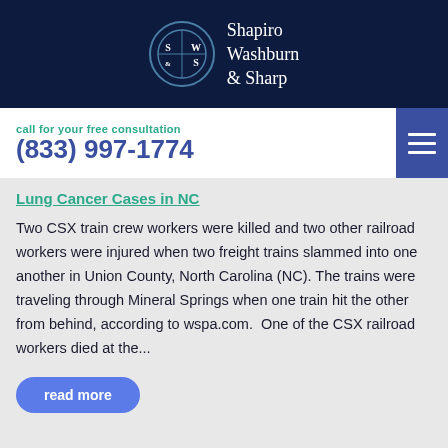[Figure (logo): Shapiro Washburn & Sharp law firm logo with circular emblem containing S|W and &|S, white text on dark navy background]
call for your free consultation
(833) 997-1774
Lung Cancer Cases in NC
Two CSX train crew workers were killed and two other railroad workers were injured when two freight trains slammed into one another in Union County, North Carolina (NC). The trains were traveling through Mineral Springs when one train hit the other from behind, according to wspa.com.  One of the CSX railroad workers died at the...
read more